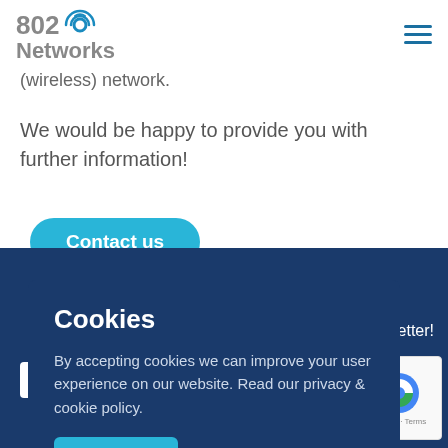802 Networks
(wireless) network.
We would be happy to provide you with further information!
Contact us
Cookies
By accepting cookies we can improve your user experience on our website. Read our privacy & cookie policy.
I agree.
our newsletter!
Your email address